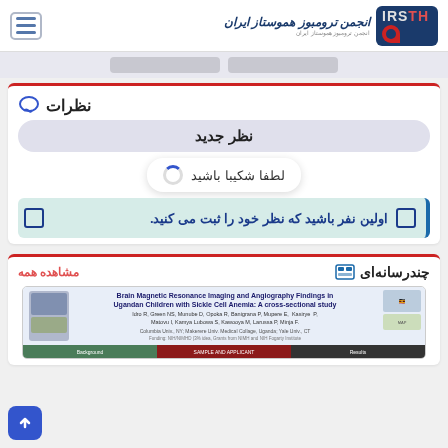انجمن ترومبوز هموستاز ایران | IRSTH
نظرات
نظر جدید
لطفا شکیبا باشید
اولین نفر باشید که نظر خود را ثبت می کنید.
چندرسانه‌ای
مشاهده همه
[Figure (screenshot): Brain Magnetic Resonance Imaging and Angiography Findings in Ugandan Children with Sickle Cell Anemia: A cross-sectional study. Authors: Idro R, Green NS, Munube D, Opoka R, Banigrana P, Mupere E, Kasirye P, Matovu I, Kamya Lubowa S, Kawooya M, Larussa P, Minja F. Columbia Univ., NY; Makerere Univ. Medical College, Uganda; Yale Univ., CT. Funding: NIH/NIMHD.]